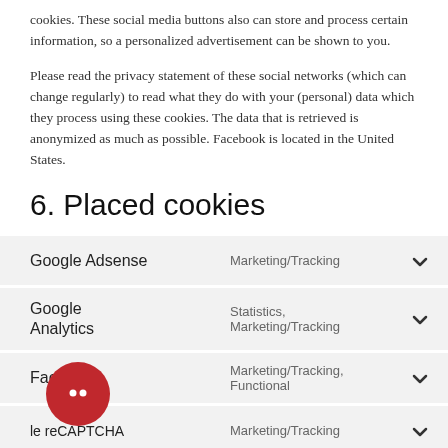cookies. These social media buttons also can store and process certain information, so a personalized advertisement can be shown to you.
Please read the privacy statement of these social networks (which can change regularly) to read what they do with your (personal) data which they process using these cookies. The data that is retrieved is anonymized as much as possible. Facebook is located in the United States.
6. Placed cookies
| Name | Type |  |
| --- | --- | --- |
| Google Adsense | Marketing/Tracking | ∨ |
| Google Analytics | Statistics, Marketing/Tracking | ∨ |
| Facebook | Marketing/Tracking, Functional | ∨ |
| Google reCAPTCHA | Marketing/Tracking | ∨ |
[Figure (illustration): Red circular badge with a cookie icon (two dots)]